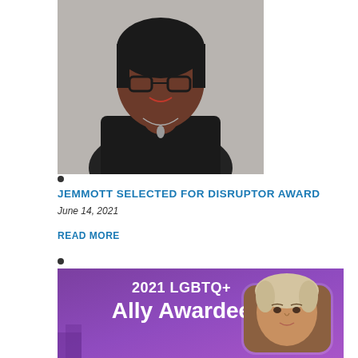[Figure (photo): Portrait photo of a woman wearing glasses and a dark sleeveless top with a necklace, smiling against a gray background]
•
JEMMOTT SELECTED FOR DISRUPTOR AWARD
June 14, 2021
READ MORE
•
[Figure (photo): Purple gradient promotional image showing '2021 LGBTQ+ Ally Awardee' with a photo of a woman with gray-blonde hair in a rounded rectangle frame]